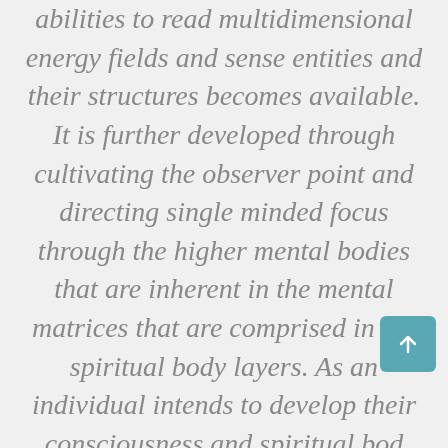abilities to read multidimensional energy fields and sense entities and their structures becomes available. It is further developed through cultivating the observer point and directing single minded focus through the higher mental bodies that are inherent in the mental matrices that are comprised in the spiritual body layers. As an individual intends to develop their consciousness and spiritual body along with their unique DNA signature, it is possible to experience consciousness transport activities
[Figure (other): Teal/blue rounded square button with upward-pointing arrow icon (scroll-to-top button)]